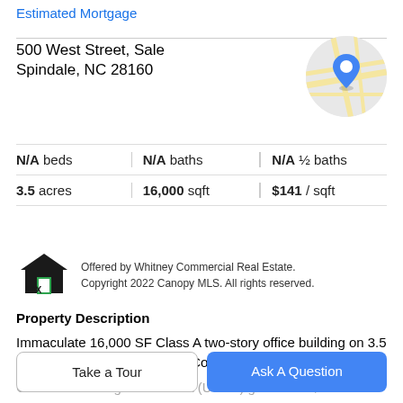Estimated Mortgage
500 West Street, Sale
Spindale, NC 28160
[Figure (map): Circular map thumbnail showing a street map with a blue location pin marker]
| N/A beds | N/A baths | N/A ½ baths |
| 3.5 acres | 16,000 sqft | $141 / sqft |
[Figure (logo): IDX house logo with green door and 'IDX' text]
Offered by Whitney Commercial Real Estate. Copyright 2022 Canopy MLS. All rights reserved.
Property Description
Immaculate 16,000 SF Class A two-story office building on 3.5 Acres For Sale in Rutherford County in Western North
Carolina. Existing GSA tenant (USDA) generates $129K in
Take a Tour
Ask A Question